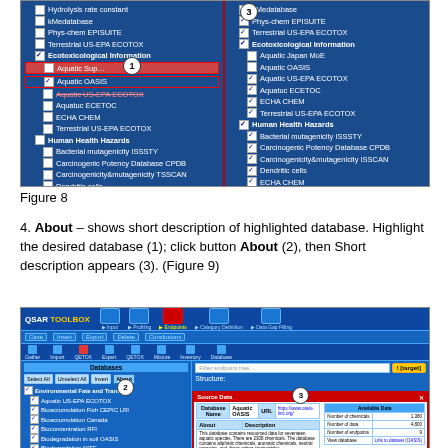[Figure (screenshot): Two-panel screenshot of a database selection interface showing checkboxes for various databases including kMedatabase, Phys-chem EPISUITE, Terrestrial US-EPA ECOTOX, Ecotoxicological Information, Aquatic databases, Human Health Hazards, etc. Left panel shows some unchecked items, right panel shows checked items. Numbered callout 1 and 3 visible.]
Figure 8
4. About – shows short description of highlighted database. Highlight the desired database (1); click button About (2), then Short description appears (3). (Figure 9)
[Figure (screenshot): Screenshot of QSAR Toolbox application showing the Databases panel with Select All, Unselect All, Invert, and About buttons. A database list is shown on the left with checkboxes. The right panel shows a filter input, Structure label, and a Source Data popup showing Database Name: Aquatic OASIS with Description and Available Data table. Numbered callouts 2 and 3 are visible.]